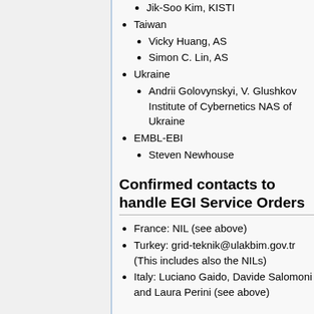Jik-Soo Kim, KISTI
Taiwan
Vicky Huang, AS
Simon C. Lin, AS
Ukraine
Andrii Golovynskyi, V. Glushkov Institute of Cybernetics NAS of Ukraine
EMBL-EBI
Steven Newhouse
Confirmed contacts to handle EGI Service Orders
France: NIL (see above)
Turkey: grid-teknik@ulakbim.gov.tr (This includes also the NILs)
Italy: Luciano Gaido, Davide Salomoni and Laura Perini (see above)